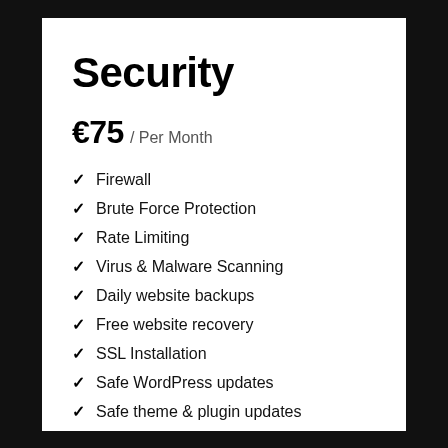Security
€75 / Per Month
Firewall
Brute Force Protection
Rate Limiting
Virus & Malware Scanning
Daily website backups
Free website recovery
SSL Installation
Safe WordPress updates
Safe theme & plugin updates